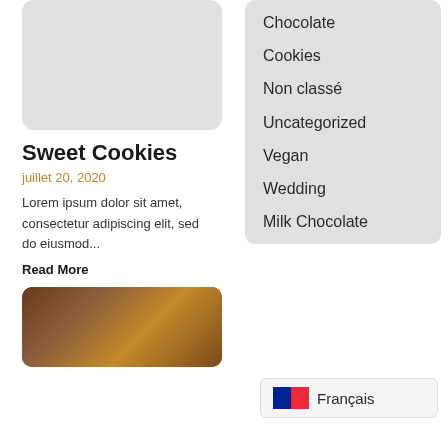[Figure (photo): Gray placeholder image with rounded corners]
Sweet Cookies
juillet 20, 2020
Lorem ipsum dolor sit amet, consectetur adipiscing elit, sed do eiusmod...
Read More
[Figure (photo): Food photo showing cookies and citrus with dark brown tones]
Chocolate
Cookies
Non classé
Uncategorized
Vegan
Wedding
Milk Chocolate
Français